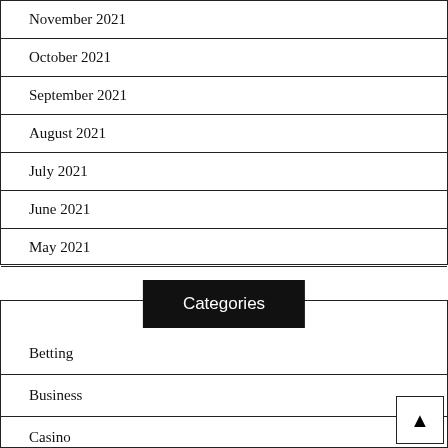November 2021
October 2021
September 2021
August 2021
July 2021
June 2021
May 2021
Categories
Betting
Business
Casino